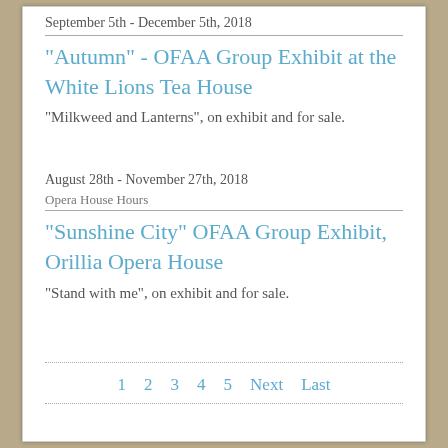September 5th - December 5th, 2018
"Autumn" - OFAA Group Exhibit at the White Lions Tea House
"Milkweed and Lanterns", on exhibit and for sale.
August 28th - November 27th, 2018
Opera House Hours
"Sunshine City" OFAA Group Exhibit, Orillia Opera House
"Stand with me", on exhibit and for sale.
1  2  3  4  5  Next  Last